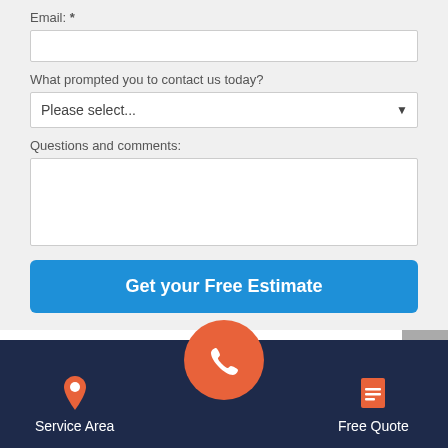Email: *
What prompted you to contact us today?
Please select...
Questions and comments:
Get your Free Estimate
Reviews From Somerset County
[Figure (other): 4.5 star rating display with orange stars]
Service Area
Free Quote